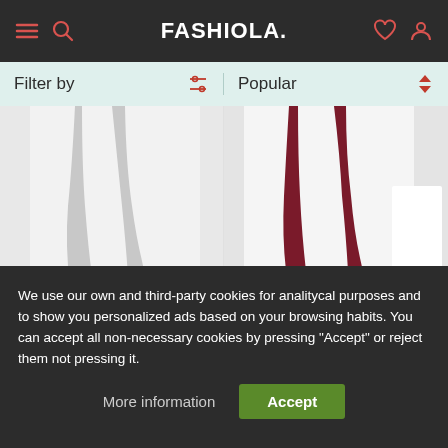FASHIOLA.
Filter by
Popular
[Figure (photo): Person wearing grey lounge sweatpants, lower body visible, with SALE badge]
$18.00 $36.00
ASOS
Lounge sweat and sweat...
[Figure (photo): Person wearing dark red/maroon lounge pants, lower body visible, with SALE badge]
$18.00 $24.00
Farah
Greshem jersey lounge p...
We use our own and third-party cookies for analitycal purposes and to show you personalized ads based on your browsing habits. You can accept all non-necessary cookies by pressing "Accept" or reject them not pressing it.
More information
Accept